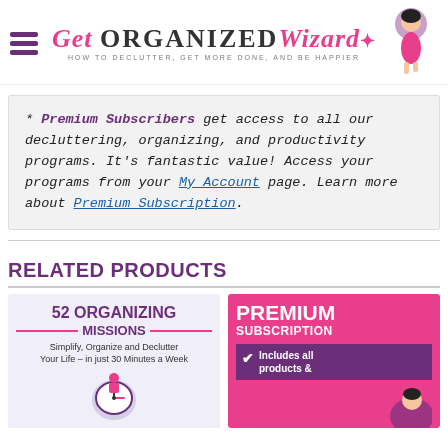Get Organized Wizard — HOW TO DECLUTTER, GET MORE DONE, AND BE HAPPIER
* Premium Subscribers get access to all our decluttering, organizing, and productivity programs. It's fantastic value! Access your programs from your My Account page. Learn more about Premium Subscription.
RELATED PRODUCTS
[Figure (illustration): 52 Organizing Missions product card: purple background with text '52 ORGANIZING MISSIONS — Simplify, Organize and Declutter Your Life – in just 30 Minutes a Week']
[Figure (illustration): Premium Subscription product card: pink background with 'PREMIUM SUBSCRIPTION' text and purple banner 'Includes all products &']